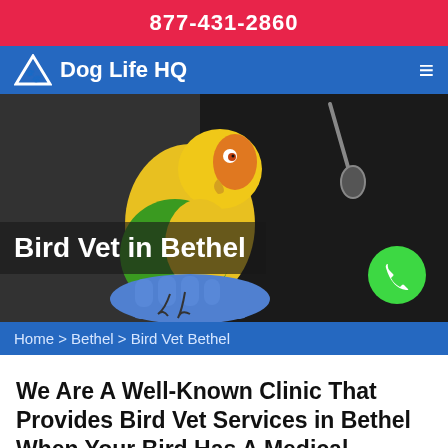877-431-2860
Dog Life HQ
[Figure (photo): A colorful yellow and green parrot perched on a gloved hand, with a person wearing a stethoscope in the background. Text overlay reads 'Bird Vet in Bethel'. A green phone button circle is visible in the lower right.]
Home > Bethel > Bird Vet Bethel
We Are A Well-Known Clinic That Provides Bird Vet Services in Bethel When Your Bird Has A Medical